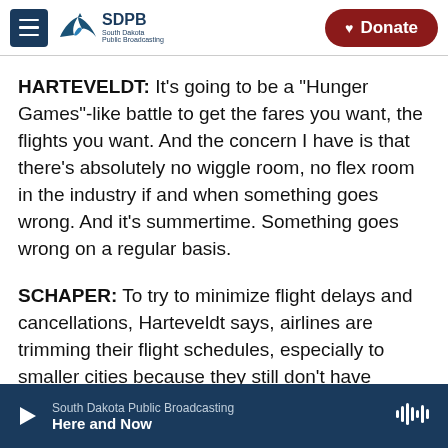SDPB South Dakota Public Broadcasting | Donate
HARTEVELDT: It's going to be a "Hunger Games"-like battle to get the fares you want, the flights you want. And the concern I have is that there's absolutely no wiggle room, no flex room in the industry if and when something goes wrong. And it's summertime. Something goes wrong on a regular basis.
SCHAPER: To try to minimize flight delays and cancellations, Harteveldt says, airlines are trimming their flight schedules, especially to smaller cities because they still don't have enough
South Dakota Public Broadcasting | Here and Now